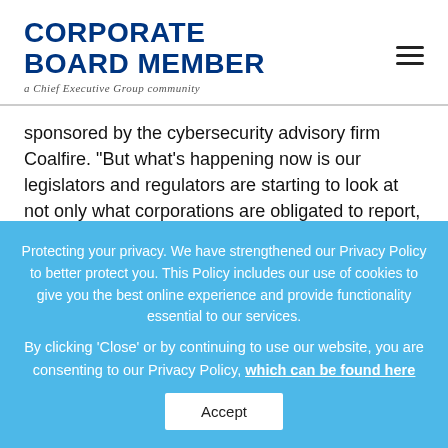CORPORATE BOARD MEMBER — a Chief Executive Group community
sponsored by the cybersecurity advisory firm Coalfire. “But what’s happening now is our legislators and regulators are starting to look at not only what corporations are obligated to report, but their obligations regarding managing data protection and data privacy. We’re seeing very aggressive regulatory movement.”
Protecting your privacy. We have strengthened our Privacy Policy to better protect you. This Policy includes our use of cookies to give you the best online experience and provide functionality essential to our services. By clicking ‘Close’ or by continuing to use our website, you are consenting to our Privacy Policy, which can be found here
Accept